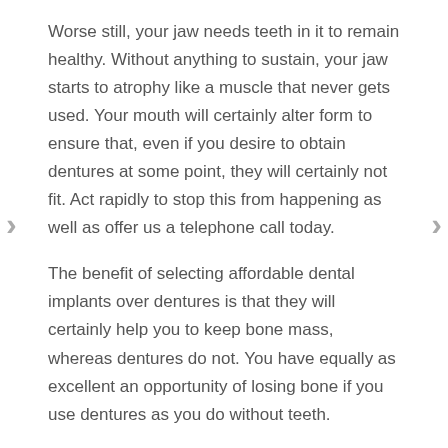Worse still, your jaw needs teeth in it to remain healthy. Without anything to sustain, your jaw starts to atrophy like a muscle that never gets used. Your mouth will certainly alter form to ensure that, even if you desire to obtain dentures at some point, they will certainly not fit. Act rapidly to stop this from happening as well as offer us a telephone call today.
The benefit of selecting affordable dental implants over dentures is that they will certainly help you to keep bone mass, whereas dentures do not. You have equally as excellent an opportunity of losing bone if you use dentures as you do without teeth.
Also dentures could be positioned in your mouth semi-permanently. Your dental professional will certainly fix them to a variety of messages so that you take hip hop lessons without losing them. While the shrieking of your fellow professional dancers or the target market as they go flying could be amazing, the sensation of flying out of your teeth will certainly not feel as